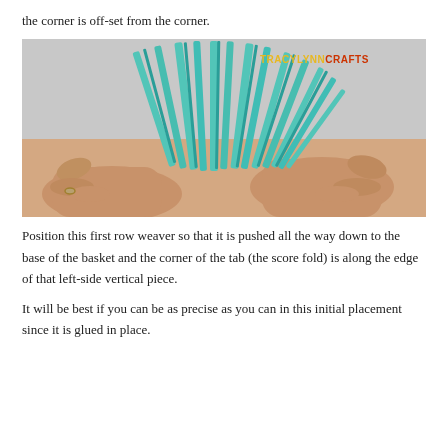the corner is off-set from the corner.
[Figure (photo): Hands holding teal/mint colored paper strips cut to create fringe, fanned out vertically. Watermark reads TRACYLYNNCRAFTS in the upper right corner.]
Position this first row weaver so that it is pushed all the way down to the base of the basket and the corner of the tab (the score fold) is along the edge of that left-side vertical piece.
It will be best if you can be as precise as you can in this initial placement since it is glued in place.